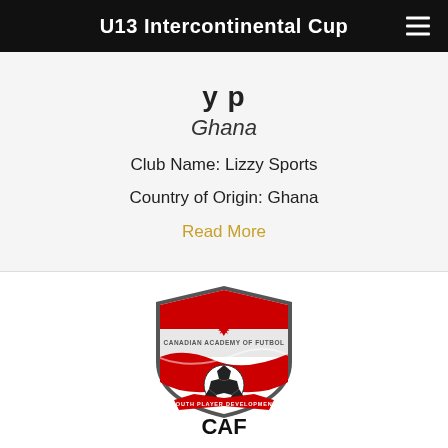U13 Intercontinental Cup
Ghana
Club Name: Lizzy Sports
Country of Origin: Ghana
Read More
[Figure (logo): CAF - Canadian Academy of Futbol shield logo with soccer ball and maple leaf, Youth Player Development banner]
CAF